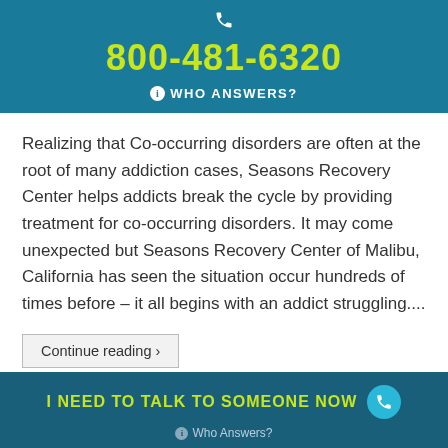800-481-6320 WHO ANSWERS?
Realizing that Co-occurring disorders are often at the root of many addiction cases, Seasons Recovery Center helps addicts break the cycle by providing treatment for co-occurring disorders. It may come unexpected but Seasons Recovery Center of Malibu, California has seen the situation occur hundreds of times before – it all begins with an addict struggling....
Continue reading ›
What You Must Know About Alcohol Rehab
I NEED TO TALK TO SOMEONE NOW  Who Answers?